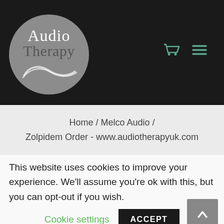[Figure (logo): AudioTherapy logo: grey circle with 'Audio' in white serif text and 'Therapy' in dark grey serif text, with a white swirl/wave graphic below]
[Figure (infographic): Shopping cart icon and hamburger menu icon in teal/green color on dark background]
Home / Melco Audio / Zolpidem Order - www.audiotherapyuk.com
This website uses cookies to improve your experience. We'll assume you're ok with this, but you can opt-out if you wish.
Cookie settings
ACCEPT